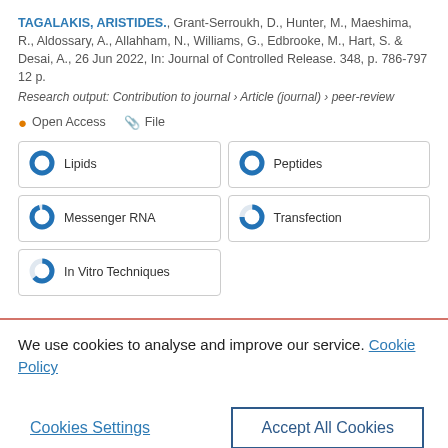TAGALAKIS, ARISTIDES., Grant-Serroukh, D., Hunter, M., Maeshima, R., Aldossary, A., Allahham, N., Williams, G., Edbrooke, M., Hart, S. & Desai, A., 26 Jun 2022, In: Journal of Controlled Release. 348, p. 786-797 12 p.
Research output: Contribution to journal › Article (journal) › peer-review
Open Access   File
Lipids
Peptides
Messenger RNA
Transfection
In Vitro Techniques
We use cookies to analyse and improve our service. Cookie Policy
Cookies Settings
Accept All Cookies